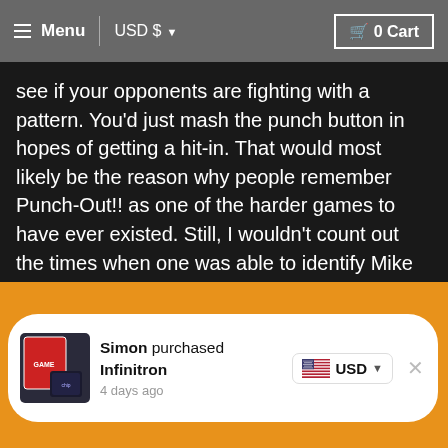Menu | USD $ ▾    🛒 0 Cart
see if your opponents are fighting with a pattern. You'd just mash the punch button in hopes of getting a hit-in. That would most likely be the reason why people remember Punch-Out!! as one of the harder games to have ever existed. Still, I wouldn't count out the times when one was able to identify Mike Tyson's pattern and still be hit with one of his uppercuts that will instantly knock you out. That kind of experience is infuriating, and even so when it brings you right back to the beginning of the game.
[Figure (screenshot): Notification card on orange background showing a game box art image, text 'Simon purchased Infinitron 4 days ago', USD currency selector with US flag, and a close button.]